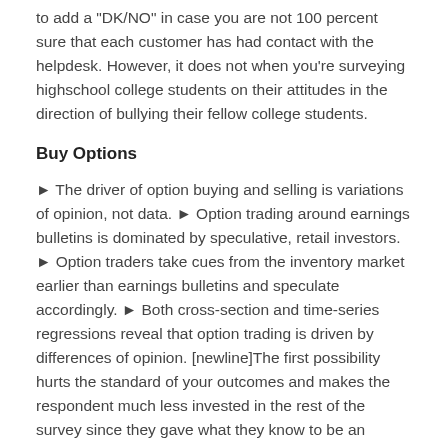to add a "DK/NO" in case you are not 100 percent sure that each customer has had contact with the helpdesk. However, it does not when you're surveying highschool college students on their attitudes in the direction of bullying their fellow college students.
Buy Options
► The driver of option buying and selling is variations of opinion, not data. ► Option trading around earnings bulletins is dominated by speculative, retail investors. ► Option traders take cues from the inventory market earlier than earnings bulletins and speculate accordingly. ► Both cross-section and time-series regressions reveal that option trading is driven by differences of opinion. [newline]The first possibility hurts the standard of your outcomes and makes the respondent much less invested in the rest of the survey since they gave what they know to be an invalid response and question the worth of their effort. Finally, should you decide to offer a "DK/NO", you'll find a way to attempt to get substantive data from